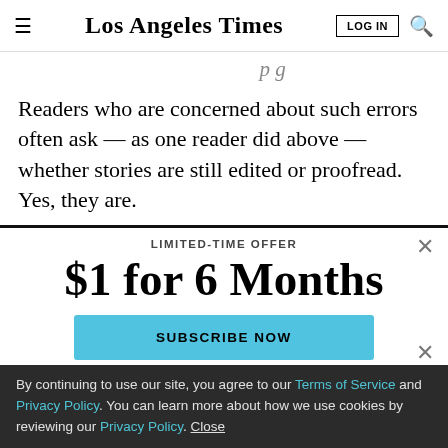Los Angeles Times — LOG IN [search icon]
— as one reader did above — whether stories are still edited or proofread. Yes, they are.
Readers who are concerned about such errors often ask — as one reader did above — whether stories are still edited or proofread. Yes, they are.
LIMITED-TIME OFFER
$1 for 6 Months
SUBSCRIBE NOW
By continuing to use our site, you agree to our Terms of Service and Privacy Policy. You can learn more about how we use cookies by reviewing our Privacy Policy. Close